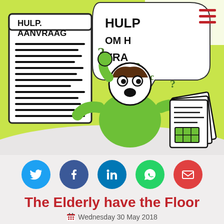[Figure (illustration): Cartoon illustration of a confused person scratching their head, surrounded by question marks, holding papers. A 'HULP AANVRAAG' (help request) notice board is on the left, and a speech bubble with 'HULP OM VRA' is on the right. Green circular background. Red hamburger menu icon top right.]
[Figure (infographic): Row of five social media share buttons: Twitter (blue), Facebook (dark blue), LinkedIn (teal-blue), WhatsApp (green), Email (red)]
The Elderly have the Floor
Wednesday 30 May 2018